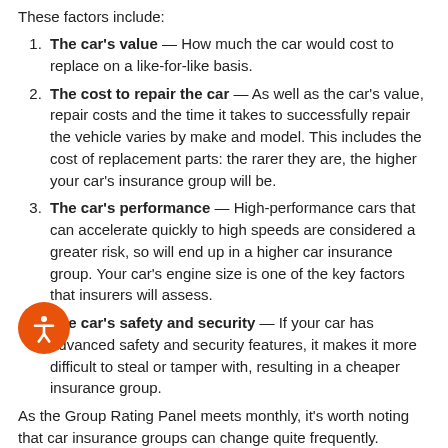These factors include:
The car's value — How much the car would cost to replace on a like-for-like basis.
The cost to repair the car — As well as the car's value, repair costs and the time it takes to successfully repair the vehicle varies by make and model. This includes the cost of replacement parts: the rarer they are, the higher your car's insurance group will be.
The car's performance — High-performance cars that can accelerate quickly to high speeds are considered a greater risk, so will end up in a higher car insurance group. Your car's engine size is one of the key factors that insurers will assess.
The car's safety and security — If your car has advanced safety and security features, it makes it more difficult to steal or tamper with, resulting in a cheaper insurance group.
As the Group Rating Panel meets monthly, it's worth noting that car insurance groups can change quite frequently.
What insurance group is my car in?
As the most straightforward way to check which insurance group...